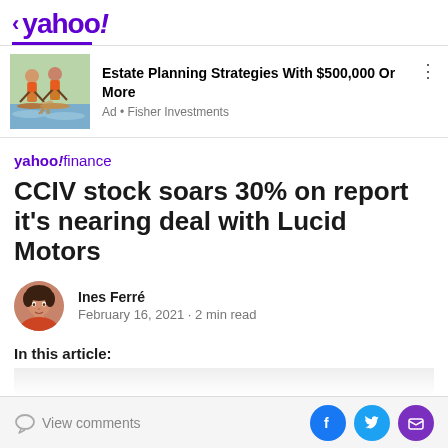< yahoo!
[Figure (illustration): Fisher Investments advertisement with illustration of two people paddleboarding with a dog]
Estate Planning Strategies With $500,000 Or More
Ad • Fisher Investments
[Figure (logo): yahoo!finance logo]
CCIV stock soars 30% on report it's nearing deal with Lucid Motors
[Figure (photo): Author photo of Ines Ferré]
Ines Ferré
February 16, 2021 · 2 min read
In this article:
View comments